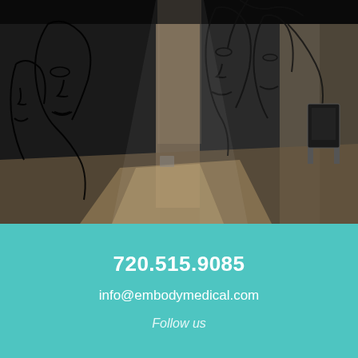[Figure (photo): Interior hallway of a medical spa/clinic with abstract line-art face murals on dark walls, light streaming through windows creating dramatic shadows on the floor.]
720.515.9085
info@embodymedical.com
Follow us